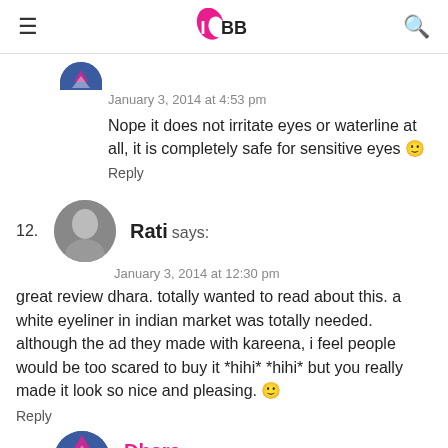IMBB (logo)
January 3, 2014 at 4:53 pm
Nope it does not irritate eyes or waterline at all, it is completely safe for sensitive eyes 🙂
Reply
12. Rati says:
January 3, 2014 at 12:30 pm
great review dhara. totally wanted to read about this. a white eyeliner in indian market was totally needed. although the ad they made with kareena, i feel people would be too scared to buy it *hihi* *hihi* but you really made it look so nice and pleasing. 🙂
Reply
Dhara